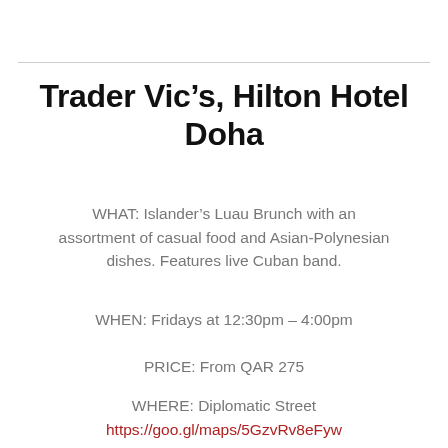Trader Vic’s, Hilton Hotel Doha
WHAT: Islander’s Luau Brunch with an assortment of casual food and Asian-Polynesian dishes. Features live Cuban band.
WHEN: Fridays at 12:30pm – 4:00pm
PRICE: From QAR 275
WHERE: Diplomatic Street
https://goo.gl/maps/5GzvRv8eFyw